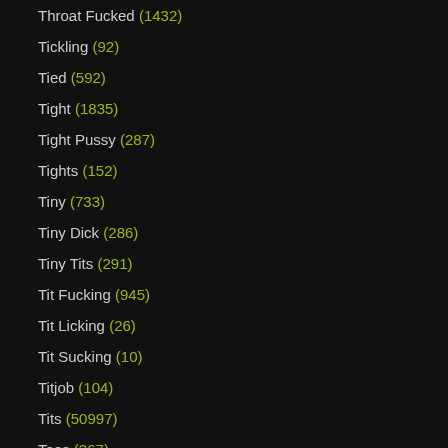Throat Fucked (1432)
Tickling (92)
Tied (592)
Tight (1835)
Tight Pussy (287)
Tights (152)
Tiny (733)
Tiny Dick (286)
Tiny Tits (291)
Tit Fucking (945)
Tit Licking (26)
Tit Sucking (10)
Titjob (104)
Tits (50997)
Toes (367)
Toilet (237)